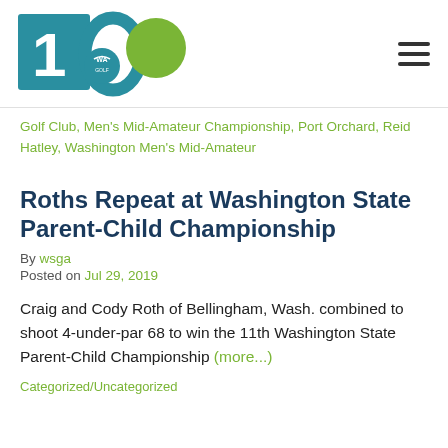[Figure (logo): WA Golf 100th anniversary logo with teal '100' numeral and green circle, WA Golf text]
Golf Club, Men's Mid-Amateur Championship, Port Orchard, Reid Hatley, Washington Men's Mid-Amateur
Roths Repeat at Washington State Parent-Child Championship
By wsga
Posted on Jul 29, 2019
Craig and Cody Roth of Bellingham, Wash. combined to shoot 4-under-par 68 to win the 11th Washington State Parent-Child Championship (more...)
Categorized/Uncategorized